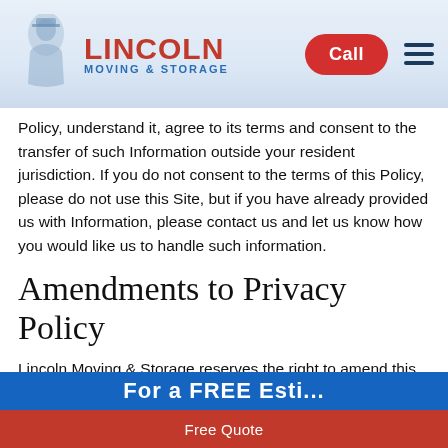[Figure (logo): Lincoln Moving & Storage logo with Lincoln portrait illustration and red/blue text]
Policy, understand it, agree to its terms and consent to the transfer of such Information outside your resident jurisdiction. If you do not consent to the terms of this Policy, please do not use this Site, but if you have already provided us with Information, please contact us and let us know how you would like us to handle such information.
Amendments to Privacy Policy
Lincoln Moving & Storage reserves the right to amend this Privacy Policy periodically.
Free Quote